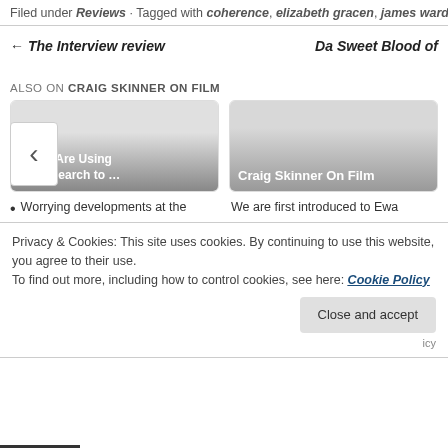Filed under Reviews · Tagged with coherence, elizabeth gracen, james ward byrkit, nic sadler
← The Interview review
Da Sweet Blood of
ALSO ON CRAIG SKINNER ON FILM
[Figure (screenshot): Two card thumbnails: first shows 'BBFC Are Using ed Research to …' with a chevron/back arrow button overlay; second shows 'Craig Skinner On Film']
Worrying developments at the
We are first introduced to Ewa
Privacy & Cookies: This site uses cookies. By continuing to use this website, you agree to their use.
To find out more, including how to control cookies, see here: Cookie Policy
Close and accept